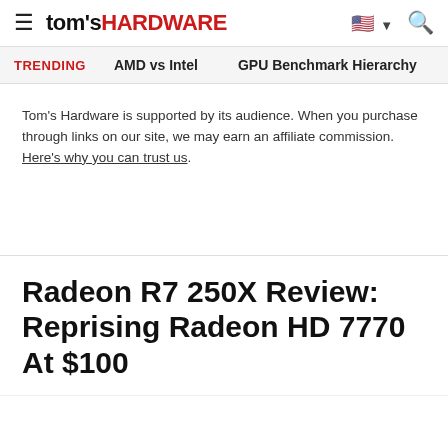tom's HARDWARE
TRENDING   AMD vs Intel   GPU Benchmark Hierarchy
Tom's Hardware is supported by its audience. When you purchase through links on our site, we may earn an affiliate commission. Here's why you can trust us.
Radeon R7 250X Review: Reprising Radeon HD 7770 At $100